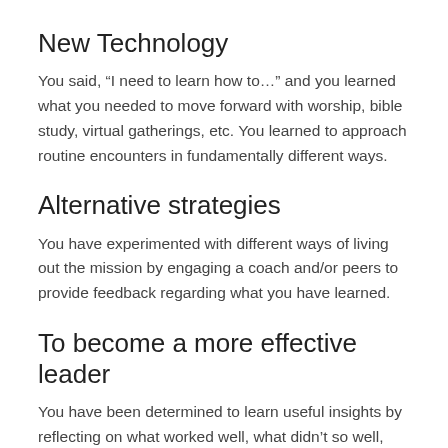New Technology
You said, “I need to learn how to…” and you learned what you needed to move forward with worship, bible study, virtual gatherings, etc. You learned to approach routine encounters in fundamentally different ways.
Alternative strategies
You have experimented with different ways of living out the mission by engaging a coach and/or peers to provide feedback regarding what you have learned.
To become a more effective leader
You have been determined to learn useful insights by reflecting on what worked well, what didn’t so well, and what might work better next time.